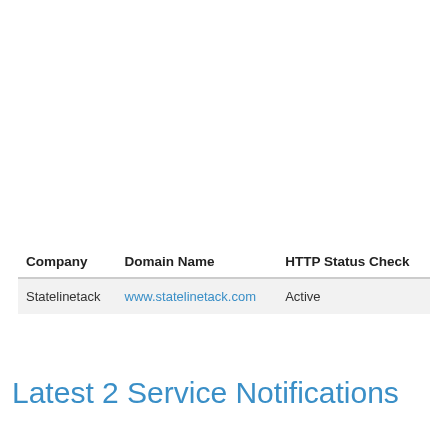| Company | Domain Name | HTTP Status Check |
| --- | --- | --- |
| Statelinetack | www.statelinetack.com | Active |
Latest 2 Service Notifications